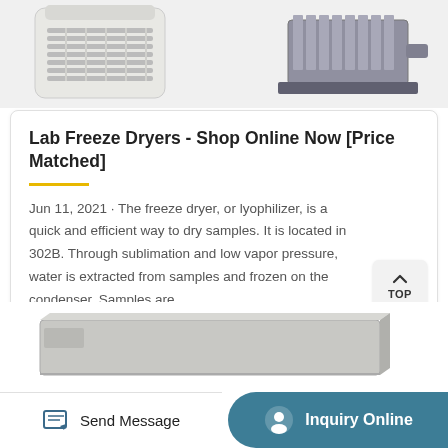[Figure (photo): Top portion of page showing two product photos: left is a white lab freeze dryer with vent grille, right is a motor/pump unit in gray]
Lab Freeze Dryers - Shop Online Now [Price Matched]
Jun 11, 2021 · The freeze dryer, or lyophilizer, is a quick and efficient way to dry samples. It is located in 302B. Through sublimation and low vapor pressure, water is extracted from samples and frozen on the condenser. Samples are …
[Figure (photo): Partial image of a flat silver/gray lab freeze dryer unit at the bottom of the page]
Send Message
Inquiry Online